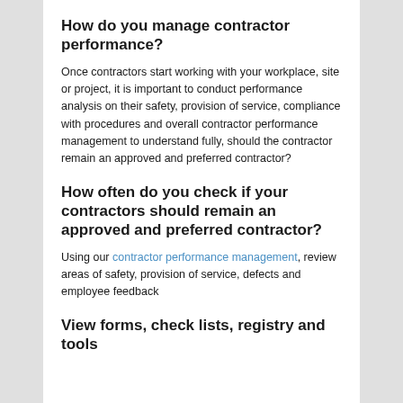How do you manage contractor performance?
Once contractors start working with your workplace, site or project, it is important to conduct performance analysis on their safety, provision of service, compliance with procedures and overall contractor performance management to understand fully, should the contractor remain an approved and preferred contractor?
How often do you check if your contractors should remain an approved and preferred contractor?
Using our contractor performance management, review areas of safety, provision of service, defects and employee feedback
View forms, check lists, registry and tools